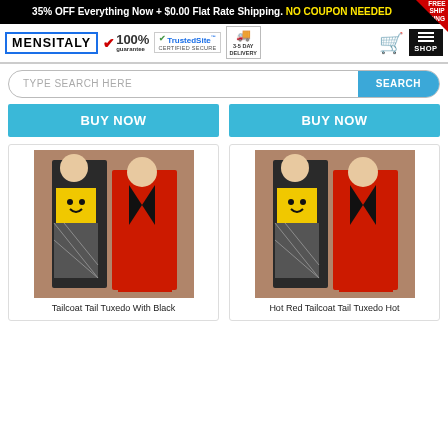35% OFF Everything Now + $0.00 Flat Rate Shipping. NO COUPON NEEDED
[Figure (screenshot): MensItaly website header with logo, 100% guarantee badge, TrustedSite certified secure badge, 3-5 Day Delivery badge, shopping cart icon, and menu/SHOP icon]
TYPE SEARCH HERE  SEARCH
BUY NOW  BUY NOW
[Figure (photo): Man in red tailcoat tuxedo with black lapels standing next to woman in smiley face top and fishnet skirt]
Tailcoat Tail Tuxedo With Black
[Figure (photo): Same couple — man in red tailcoat tuxedo with black lapels and woman in smiley face top and fishnet skirt]
Hot Red Tailcoat Tail Tuxedo Hot